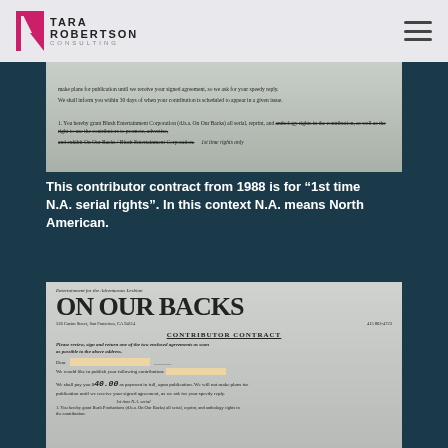Tara Robertson Consulting
[Figure (photo): Scanned document showing top portion of a contributor contract with strikethrough text about rights]
This contributor contract from 1988 is for “1st time N.A. serial rights”. In this context N.A. means North American.
[Figure (photo): Scanned contributor contract from On Our Backs magazine, 526 Castro Street, San Francisco CA 94114, 415 863-4723. Shows CONTRIBUTOR CONTRACT header, instructions to review sign and return, Dear line, contribution line with $40.00 payment, and clause granting Bush Productions d.b.a. On Our Backs serial reprint and anthology rights. Handwritten note says 1st time N.A. serial rights.]